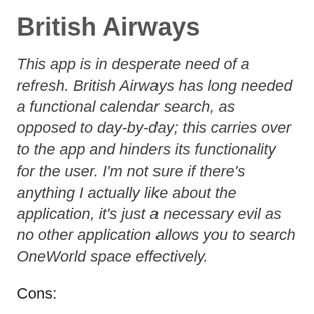British Airways
This app is in desperate need of a refresh. British Airways has long needed a functional calendar search, as opposed to day-by-day; this carries over to the app and hinders its functionality for the user. I'm not sure if there's anything I actually like about the application, it's just a necessary evil as no other application allows you to search OneWorld space effectively.
Cons:
Frustrating sign-on system; sign in required to proceed
No calendar; day-by-day search similar to BA website and slow to